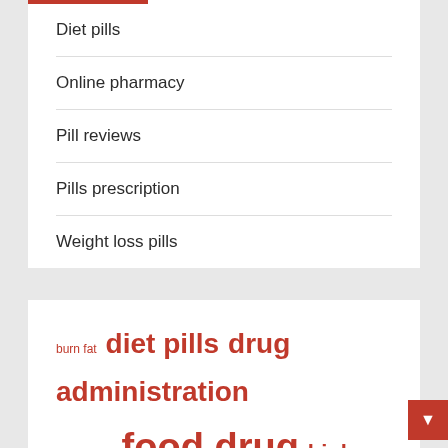Diet pills
Online pharmacy
Pill reviews
Pills prescription
Weight loss pills
burn fat  diet pills  drug administration  fat burning  food drug  high quality  individual result  lose weight  loss supplement